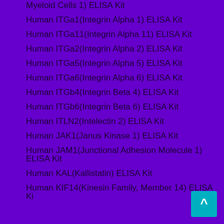Myeloid Cells 1) ELISA Kit
Human ITGa1(Integrin Alpha 1) ELISA Kit
Human ITGa11(Integrin Alpha 11) ELISA Kit
Human ITGa2(Integrin Alpha 2) ELISA Kit
Human ITGa5(Integrin Alpha 5) ELISA Kit
Human ITGa6(Integrin Alpha 6) ELISA Kit
Human ITGb4(Integrin Beta 4) ELISA Kit
Human ITGb6(Integrin Beta 6) ELISA Kit
Human ITLN2(Intelectin 2) ELISA Kit
Human JAK1(Janus Kinase 1) ELISA Kit
Human JAM1(Junctional Adhesion Molecule 1) ELISA Kit
Human KAL(Kallistatin) ELISA Kit
Human KIF14(Kinesin Family, Member 14) ELISA Kit